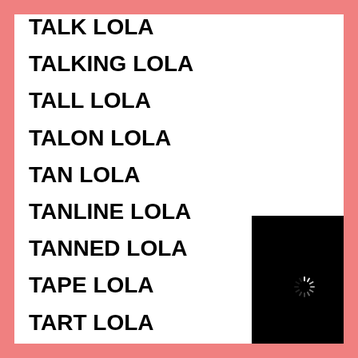TALK LOLA
TALKING LOLA
TALL LOLA
TALON LOLA
TAN LOLA
TANLINE LOLA
TANNED LOLA
TAPE LOLA
TART LOLA
[Figure (screenshot): A video player overlay showing a black loading screen with a spinning loader icon, and a control bar at the bottom showing a play button, progress bar, time display '00:00/03:48', volume slider, and fullscreen button.]